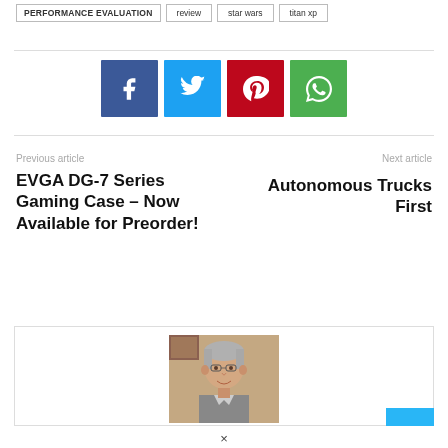PERFORMANCE EVALUATION
review
star wars
titan xp
[Figure (infographic): Row of four social media share buttons: Facebook (blue), Twitter (light blue), Pinterest (red), WhatsApp (green), each with their respective icons.]
Previous article
EVGA DG-7 Series Gaming Case – Now Available for Preorder!
Next article
Autonomous Trucks First
[Figure (photo): Portrait photo of an older man with gray hair and glasses, smiling, in front of a wood-paneled background.]